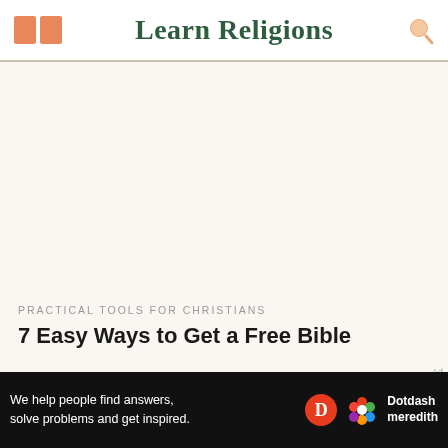Learn Religions
[Figure (other): Advertisement placeholder area with light beige background]
PRACTICAL TOOLS FOR CHRISTIANS
7 Easy Ways to Get a Free Bible
[Figure (other): Bottom advertisement banner: 'We help people find answers, solve problems and get inspired.' with Dotdash Meredith logo]